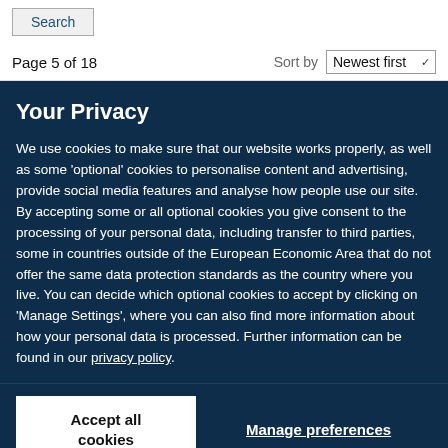Search
Page 5 of 18
Sort by Newest first
Your Privacy
We use cookies to make sure that our website works properly, as well as some 'optional' cookies to personalise content and advertising, provide social media features and analyse how people use our site. By accepting some or all optional cookies you give consent to the processing of your personal data, including transfer to third parties, some in countries outside of the European Economic Area that do not offer the same data protection standards as the country where you live. You can decide which optional cookies to accept by clicking on 'Manage Settings', where you can also find more information about how your personal data is processed. Further information can be found in our privacy policy.
Accept all cookies
Manage preferences